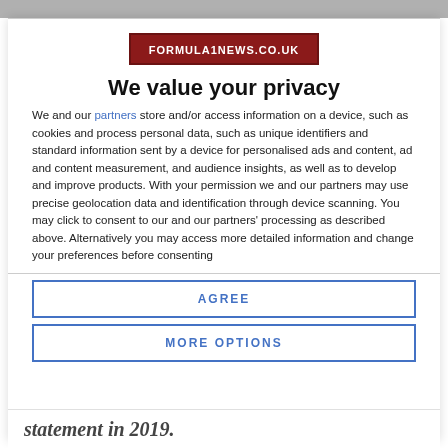[Figure (logo): FORMULA1NEWS.CO.UK logo, white text on dark red background]
We value your privacy
We and our partners store and/or access information on a device, such as cookies and process personal data, such as unique identifiers and standard information sent by a device for personalised ads and content, ad and content measurement, and audience insights, as well as to develop and improve products. With your permission we and our partners may use precise geolocation data and identification through device scanning. You may click to consent to our and our partners' processing as described above. Alternatively you may access more detailed information and change your preferences before consenting or to refuse consenting. Please note that some processing of your
AGREE
MORE OPTIONS
statement in 2019.